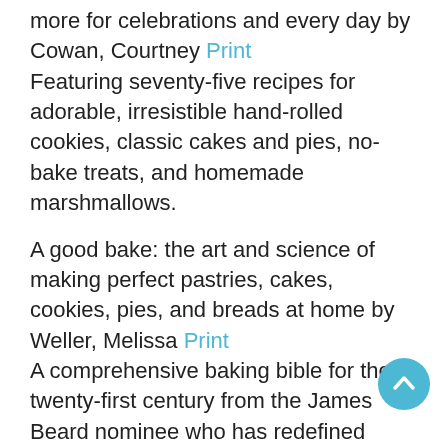more for celebrations and every day by Cowan, Courtney Print
Featuring seventy-five recipes for adorable, irresistible hand-rolled cookies, classic cakes and pies, no-bake treats, and homemade marshmallows.
A good bake: the art and science of making perfect pastries, cakes, cookies, pies, and breads at home by Weller, Melissa Print
A comprehensive baking bible for the twenty-first century from the James Beard nominee who has redefined American baking. With 120 scientifically grounded recipes for sweet and savory baked goods anyone can master.
Christmas with Kim-Joy: a festive collection of edible cuteness by Kim-Joy Print
Sharing her simple decorating techniques and her